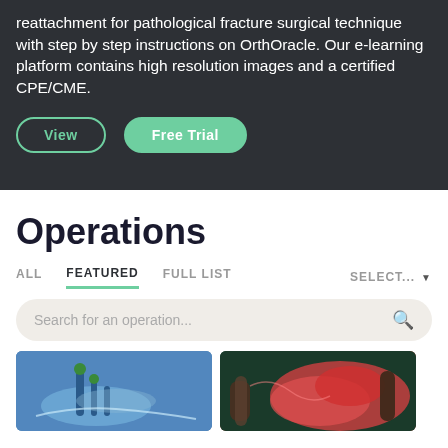reattachment for pathological fracture surgical technique with step by step instructions on OrthOracle. Our e-learning platform contains high resolution images and a certified CPE/CME.
[Figure (screenshot): Two buttons: 'View' (outlined) and 'Free Trial' (filled green)]
Operations
ALL  FEATURED  FULL LIST  SELECT...
Search for an operation...
[Figure (photo): Surgical operation photo showing instruments on a limb with blue draping]
[Figure (photo): Surgical operation photo showing red tissue being handled]